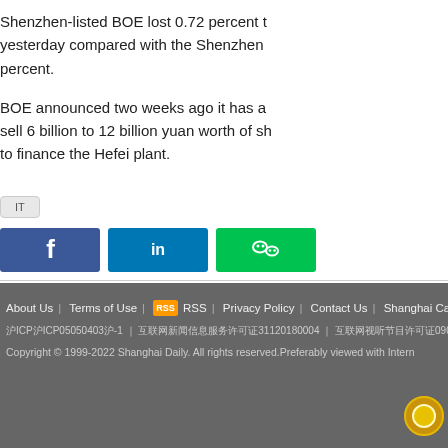Shenzhen-listed BOE lost 0.72 percent yesterday compared with the Shenzhen percent.
BOE announced two weeks ago it has a sell 6 billion to 12 billion yuan worth of sh to finance the Hefei plant.
[Figure (other): IT category tag button]
[Figure (other): Social media share buttons: Facebook, LinkedIn, WeChat]
About Us | Terms of Use | RSS | Privacy Policy | Contact Us | Shanghai Call C
沪ICP沪ICP05050403沪-1 | 互联网新闻信息服务许可证31120180004 | 互联网视听节目许可证0909346 | 网络视听许可证35
Copyright © 1999-2022 Shanghai Daily. All rights reserved.Preferably viewed with Intern